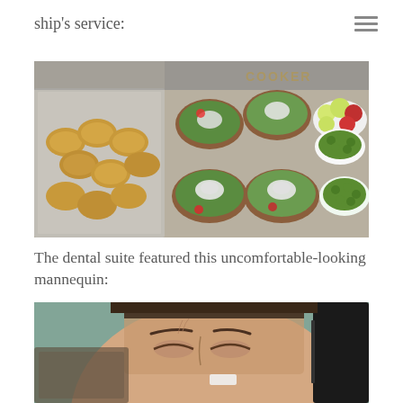ship's service:
[Figure (photo): Photo of ship's food service counter showing trays of bread rolls, multiple bowls of green salad with onion rings, tomatoes and radishes, plates of green olives, and a bowl of mixed apples and red fruits. A sign reading 'COOKER' is visible in the background.]
The dental suite featured this uncomfortable-looking mannequin:
[Figure (photo): Close-up photo of a realistic mannequin head with closed eyes and a pained or uncomfortable expression, appearing to be in a dental setting.]